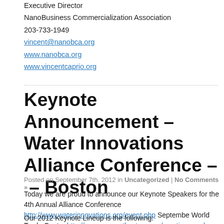Executive Director
NanoBusiness Commercialization Association
203-733-1949
vincent@nanobca.org
www.nanobca.org
www.vincentcaprio.org
Keynote Announcement – Water Innovations Alliance Conference – – Boston
Posted on September 7th, 2012 in Uncategorized | No Comments »
Today we are proud to announce our Keynote Speakers for the 4th Annual Alliance Conference http://www.waterinnovations.org/event.php September World Trade Center http://www.seaportboston.com/meetings-and-events/o Boston, MA.
Our 2012 Keynote Lineup is the following: